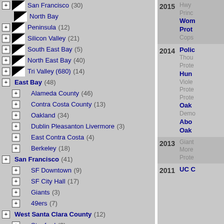San Francisco (30)
North Bay
Peninsula (12)
Silicon Valley (21)
South East Bay (5)
North East Bay (40)
Tri Valley (680) (14)
East Bay (48)
Alameda County (46)
Contra Costa County (13)
Oakland (34)
Dublin Pleasanton Livermore (3)
East Contra Costa (4)
Berkeley (18)
San Francisco (41)
SF Downtown (9)
SF City Hall (17)
Giants (3)
49ers (7)
West Santa Clara County (12)
Stanford (3)
San Jose (14)
SJSU (3)
Bay Area Freeways (7)
2015: Hwy, Princ, Wom, Prot, Cops
2014: Polic, Thou, Prote, Hun, Viole, Prote, Prote, Oak, Demo, Abo, Oak
2013: Giant, More, Prote
2011: UC C, Nat